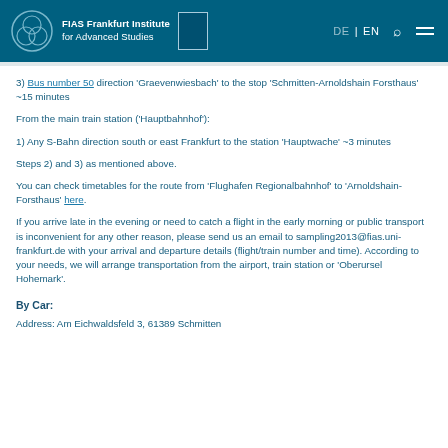FIAS Frankfurt Institute for Advanced Studies | DE | EN
3) Bus number 50 direction 'Graevenwiesbach' to the stop 'Schmitten-Arnoldshain Forsthaus' ~15 minutes
From the main train station ('Hauptbahnhof'):
1) Any S-Bahn direction south or east Frankfurt to the station 'Hauptwache' ~3 minutes
Steps 2) and 3) as mentioned above.
You can check timetables for the route from 'Flughafen Regionalbahnhof' to 'Arnoldshain-Forsthaus' here.
If you arrive late in the evening or need to catch a flight in the early morning or public transport is inconvenient for any other reason, please send us an email to sampling2013@fias.uni-frankfurt.de with your arrival and departure details (flight/train number and time). According to your needs, we will arrange transportation from the airport, train station or 'Oberursel Hohemark'.
By Car:
Address: Am Eichwaldsfeld 3, 61389 Schmitten